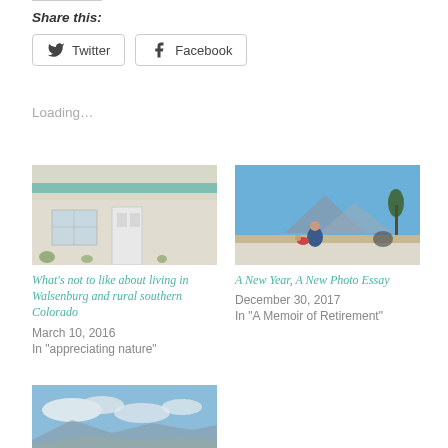Share this:
Twitter
Facebook
Loading...
[Figure (photo): A small white stucco house with a teal awning and a door with windows, plants in front.]
What’s not to like about living in Walsenburg and rural southern Colorado
March 10, 2016
In “appreciating nature”
[Figure (photo): A person sitting outdoors in an open landscape with mountains in the background, a small dog nearby.]
A New Year, A New Photo Essay
December 30, 2017
In “A Memoir of Retirement”
[Figure (photo): A wide sky with scattered clouds over a distant mountain landscape.]